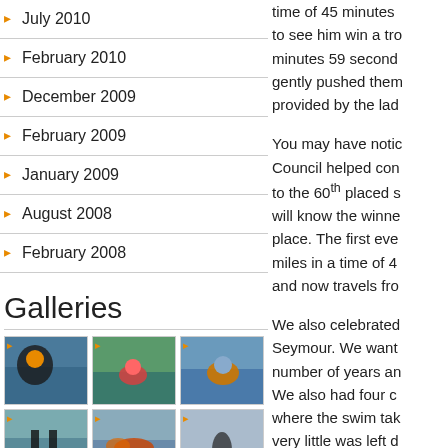July 2010
February 2010
December 2009
February 2009
January 2009
August 2008
February 2008
Galleries
[Figure (photo): Gallery grid of 8 open water swimming photos showing swimmers in the sea]
time of 45 minutes to see him win a trophy minutes 59 seconds gently pushed them provided by the la
You may have noticed Council helped con to the 60th placed s will know the winner place. The first ever miles in a time of 4 and now travels fro
We also celebrated Seymour. We want number of years an We also had four c where the swim tak very little was left d